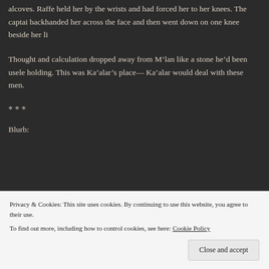alcoves. Raffe held her by the wrists and had forced her to her knees. The captain backhanded her across the face and then went down on one knee beside her li...
Thought and calculation dropped away from M’lan like a stone he’d been uselo holding. This was Ka’alar’s place— Ka’alar would deal with these men.
***
Blurb:
[Figure (screenshot): Advertisement banner with teal and cyan decorative shapes. Bold text reads: 'How to start selling subscriptions online'. A purple button reads 'Start a new store'.]
Privacy & Cookies: This site uses cookies. By continuing to use this website, you agree to their use.
To find out more, including how to control cookies, see here: Cookie Policy
Close and accept